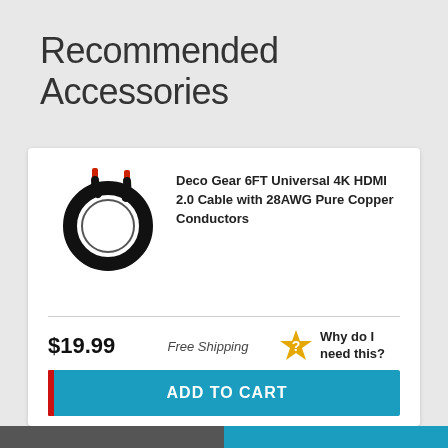Recommended Accessories
[Figure (photo): Coiled black HDMI cable with red connectors]
Deco Gear 6FT Universal 4K HDMI 2.0 Cable with 28AWG Pure Copper Conductors
$19.99   Free Shipping   Why do I need this?
ADD TO CART